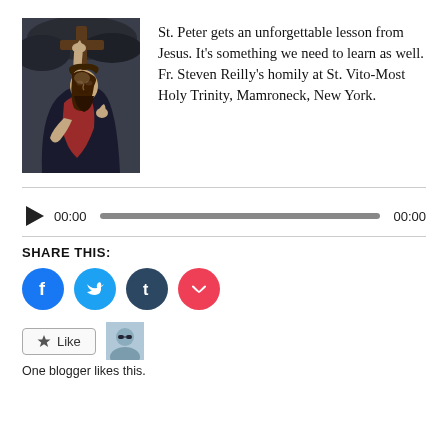[Figure (illustration): Classical painting of Jesus Christ carrying the cross, wearing crown of thorns, dark background with dramatic lighting.]
St. Peter gets an unforgettable lesson from Jesus. It's something we need to learn as well. Fr. Steven Reilly's homily at St. Vito-Most Holy Trinity, Mamroneck, New York.
[Figure (other): Audio player with play button, time display 00:00, grey progress bar, and end time 00:00]
SHARE THIS:
[Figure (other): Social share icons: Facebook (blue circle), Twitter (blue circle), Tumblr (dark circle), Pocket (red circle)]
[Figure (other): Like button with star icon and blogger avatar photo]
One blogger likes this.